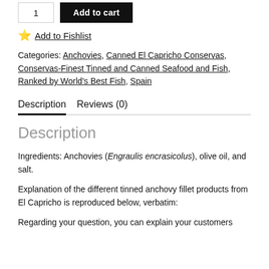[Figure (other): E-commerce product page top section showing quantity input box with '1' and black 'Add to cart' button]
⭐ Add to Fishlist
Categories: Anchovies, Canned El Capricho Conservas, Conservas-Finest Tinned and Canned Seafood and Fish, Ranked by World's Best Fish, Spain
Description   Reviews (0)
Description
Ingredients: Anchovies (Engraulis encrasicolus), olive oil, and salt.
Explanation of the different tinned anchovy fillet products from El Capricho is reproduced below, verbatim:
Regarding your question, you can explain your customers